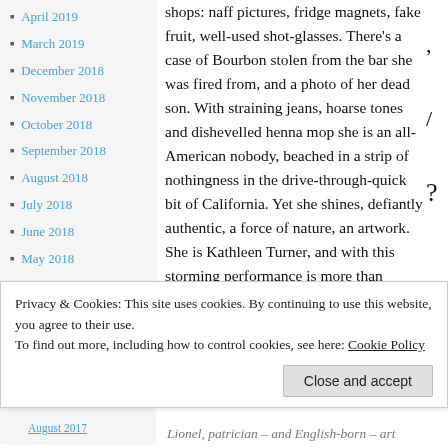April 2019
March 2019
December 2018
November 2018
October 2018
September 2018
August 2018
July 2018
June 2018
May 2018
April 2018
March 2018
February 2018
January 2018
shops: naff pictures, fridge magnets, fake fruit, well-used shot-glasses. There’s a case of Bourbon stolen from the bar she was fired from, and a photo of her dead son. With straining jeans, hoarse tones and dishevelled henna mop she is an all-American nobody, beached in a strip of nothingness in the drive-through-quick bit of California. Yet she shines, defiantly authentic, a force of nature, an artwork. She is Kathleen Turner, and with this storming performance is more than welcome back to the West End stage.
Privacy & Cookies: This site uses cookies. By continuing to use this website, you agree to their use.
To find out more, including how to control cookies, see here: Cookie Policy
Lionel, patrician – and English-born – art